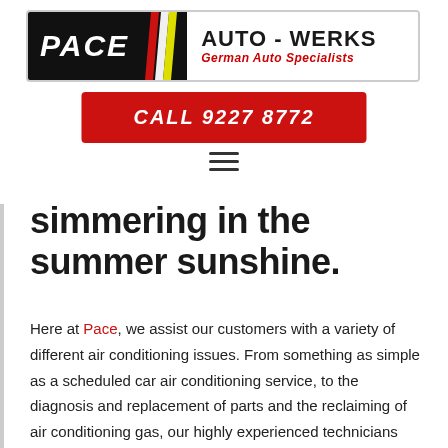[Figure (logo): Pace Auto-Werks logo: black background with PACE in white italic bold text, diagonal yellow and red stripes, then white background with AUTO-WERKS in bold black and German Auto Specialists in red italic]
CALL 9227 8772
[Figure (other): Hamburger menu icon with three horizontal lines]
simmering in the summer sunshine.
Here at Pace, we assist our customers with a variety of different air conditioning issues. From something as simple as a scheduled car air conditioning service, to the diagnosis and replacement of parts and the reclaiming of air conditioning gas, our highly experienced technicians are ready to help you.